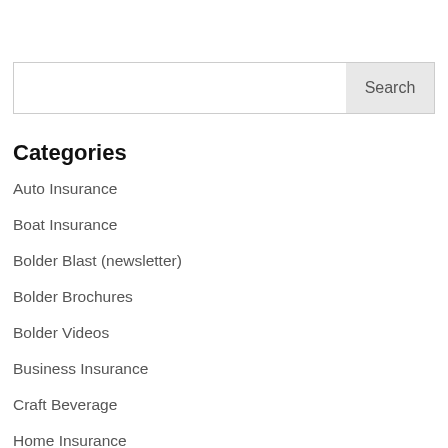[Figure (screenshot): Search input box with a 'Search' button on the right]
Categories
Auto Insurance
Boat Insurance
Bolder Blast (newsletter)
Bolder Brochures
Bolder Videos
Business Insurance
Craft Beverage
Home Insurance
In the Community
Life Insurance